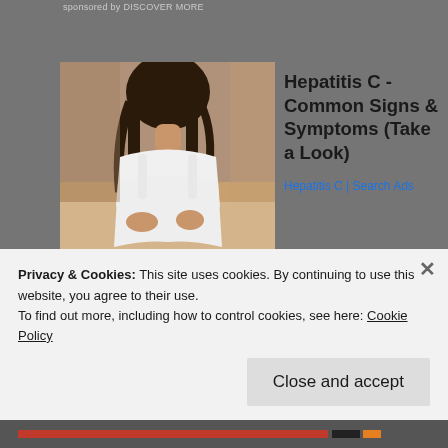sponsored by DISCOVER MORE
[Figure (photo): Woman with back pain sitting on bed, seen from behind, wearing white top]
Hepatitis C - Common Signs & Symptoms (Take a Look)
Hepatitis C | Search Ads
[Figure (photo): American flag background with text 'MP LEJEUNE LEGAL HELP' and military handshake image]
PACT Act Passed - Camp Lejeune Justice
TruLaw
Share this:
Privacy & Cookies: This site uses cookies. By continuing to use this website, you agree to their use.
To find out more, including how to control cookies, see here: Cookie Policy
Close and accept